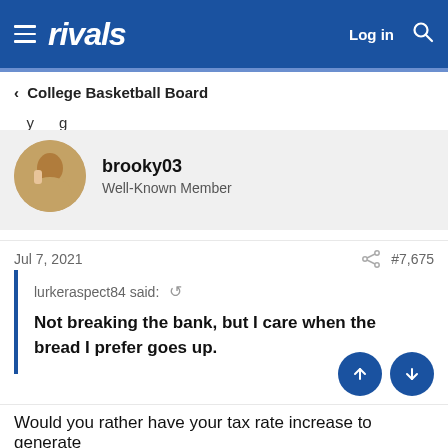rivals — Log in
College Basketball Board
brooky03
Well-Known Member
Jul 7, 2021   #7,675
lurkeraspect84 said: ↩

Not breaking the bank, but I care when the bread I prefer goes up.
Would you rather have your tax rate increase to generate